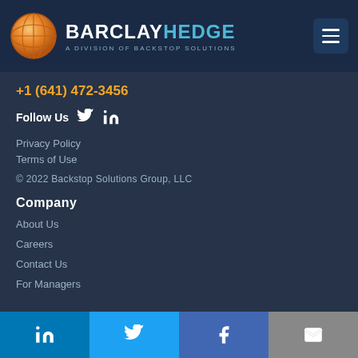[Figure (logo): BarclayHedge logo with globe icon and text 'BARCLAYHEDGE A DIVISION OF BACKSTOP SOLUTIONS']
+1 (641) 472-3456
Follow Us
Privacy Policy
Terms of Use
© 2022 Backstop Solutions Group, LLC
Company
About Us
Careers
Contact Us
For Managers
[Figure (infographic): Bottom social media bar with LinkedIn, Twitter, Facebook, and email icons]